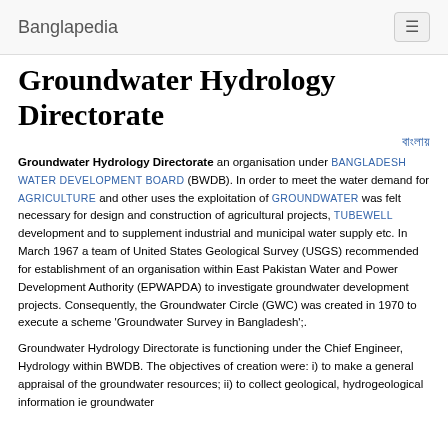Banglapedia
Groundwater Hydrology Directorate
বাংলায়
Groundwater Hydrology Directorate an organisation under BANGLADESH WATER DEVELOPMENT BOARD (BWDB). In order to meet the water demand for AGRICULTURE and other uses the exploitation of GROUNDWATER was felt necessary for design and construction of agricultural projects, TUBEWELL development and to supplement industrial and municipal water supply etc. In March 1967 a team of United States Geological Survey (USGS) recommended for establishment of an organisation within East Pakistan Water and Power Development Authority (EPWAPDA) to investigate groundwater development projects. Consequently, the Groundwater Circle (GWC) was created in 1970 to execute a scheme 'Groundwater Survey in Bangladesh';.
Groundwater Hydrology Directorate is functioning under the Chief Engineer, Hydrology within BWDB. The objectives of creation were: i) to make a general appraisal of the groundwater resources; ii) to collect geological, hydrogeological information ie groundwater